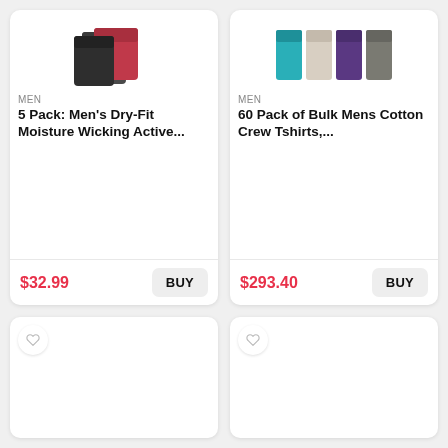[Figure (photo): Stack of men's dry-fit shirts in dark grey and red/pink colors]
MEN
5 Pack: Men's Dry-Fit Moisture Wicking Active...
$32.99
[Figure (photo): Four color swatches of bulk men's cotton crew tshirts: teal, cream, purple, grey]
MEN
60 Pack of Bulk Mens Cotton Crew Tshirts,...
$293.40
[Figure (other): Empty product card with heart/wishlist button, loading state]
[Figure (other): Empty product card with heart/wishlist button, loading state]